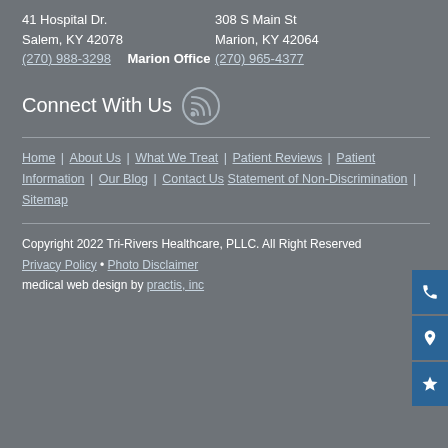41 Hospital Dr.
Salem, KY 42078
(270) 988-3298
Marion Office
308 S Main St
Marion, KY 42064
(270) 965-4377
Connect With Us
Home | About Us | What We Treat | Patient Reviews | Patient Information | Our Blog | Contact Us Statement of Non-Discrimination | Sitemap
Copyright 2022 Tri-Rivers Healthcare, PLLC. All Right Reserved
Privacy Policy • Photo Disclaimer
medical web design by practis, inc